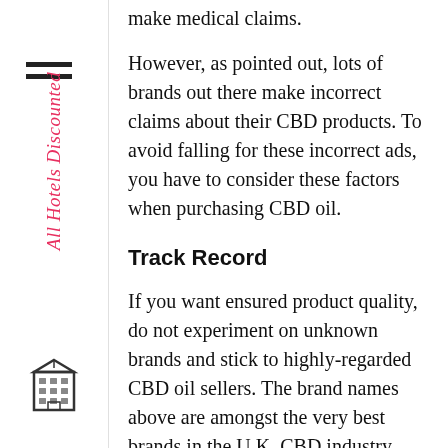make medical claims.
However, as pointed out, lots of brands out there make incorrect claims about their CBD products. To avoid falling for these incorrect ads, you have to consider these factors when purchasing CBD oil.
Track Record
If you want ensured product quality, do not experiment on unknown brands and stick to highly-regarded CBD oil sellers. The brand names above are amongst the very best brands in the U.K. CBD industry.
Full-Spectrum
This refers to CBD oils with a mixture of different